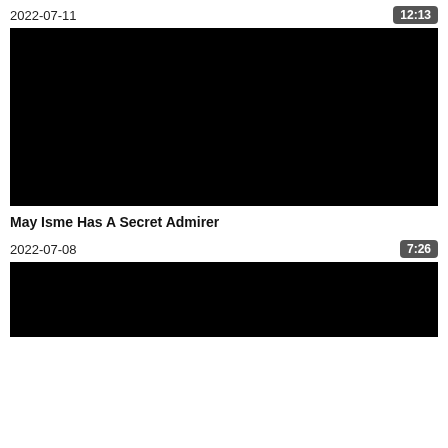2022-07-11
12:13
[Figure (photo): Black video thumbnail rectangle]
May Isme Has A Secret Admirer
2022-07-08
7:26
[Figure (photo): Black video thumbnail rectangle (partial)]